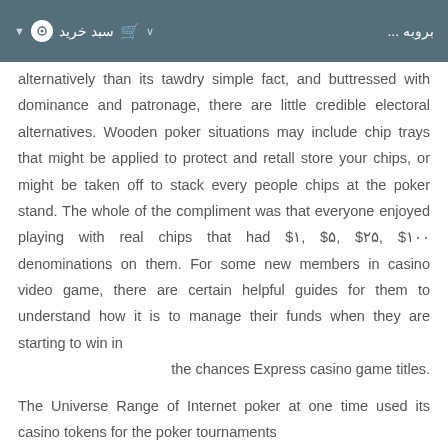▼ • سبد خرید 🛒 ∨    بروبه ...
alternatively than its tawdry simple fact, and buttressed with dominance and patronage, there are little credible electoral alternatives. Wooden poker situations may include chip trays that might be applied to protect and retall store your chips, or might be taken off to stack every people chips at the poker stand. The whole of the compliment was that everyone enjoyed playing with real chips that had $۱, $۵, $۲۵, $۱۰۰ denominations on them. For some new members in casino video game, there are certain helpful guides for them to understand how it is to manage their funds when they are starting to win in the chances Express casino game titles.
The Universe Range of Internet poker at one time used its casino tokens for the poker tournaments